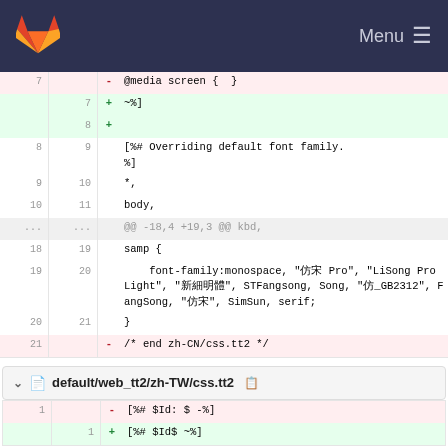GitLab — Menu
[Figure (screenshot): Code diff view showing changes to CSS files in a GitLab repository interface. First diff block shows lines 7-21 of zh-CN/css.tt2 with removed line '@media screen { }', added lines '~%]' and '+', context lines for '[%# Overriding default font family. %]', '*, ', 'body,', hunk '@@ -18,4 +19,3 @@ kbd,', context lines 'samp {', 'font-family:monospace, Chinese font string', '}', removed line '/* end zh-CN/css.tt2 */'. Second diff block shows file default/web_tt2/zh-TW/css.tt2 with removed line '[%# $Id: $ -%]' and added line '[%# $Id$ ~%]'.]